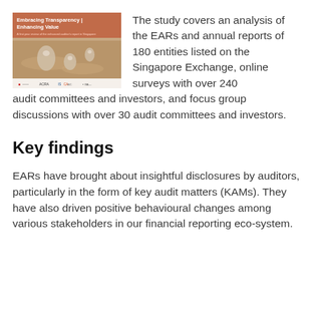[Figure (illustration): Book cover titled 'Embracing Transparency | Enhancing Value' with subtitle 'A first year review of the enhanced auditor's report in Singapore', featuring water droplets on a sandy surface, with logos at the bottom including ACRA, ISCA, and others.]
The study covers an analysis of the EARs and annual reports of 180 entities listed on the Singapore Exchange, online surveys with over 240 audit committees and investors, and focus group discussions with over 30 audit committees and investors.
Key findings
EARs have brought about insightful disclosures by auditors, particularly in the form of key audit matters (KAMs). They have also driven positive behavioural changes among various stakeholders in our financial reporting eco-system.